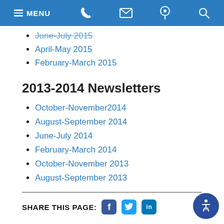MENU (navigation bar with phone, email, location, search icons)
June-July 2015
April-May 2015
February-March 2015
2013-2014 Newsletters
October-November2014
August-September 2014
June-July 2014
February-March 2014
October-November 2013
August-September 2013
SHARE THIS PAGE: (Facebook, Twitter, LinkedIn icons)